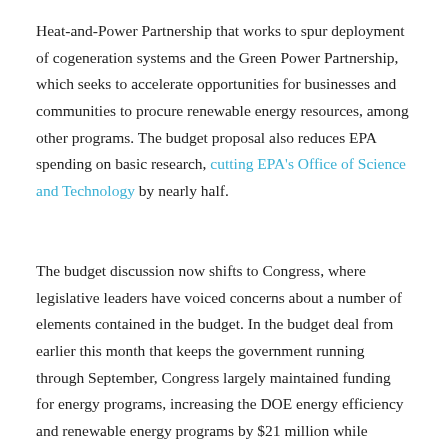Heat-and-Power Partnership that works to spur deployment of cogeneration systems and the Green Power Partnership, which seeks to accelerate opportunities for businesses and communities to procure renewable energy resources, among other programs. The budget proposal also reduces EPA spending on basic research, cutting EPA's Office of Science and Technology by nearly half.
The budget discussion now shifts to Congress, where legislative leaders have voiced concerns about a number of elements contained in the budget. In the budget deal from earlier this month that keeps the government running through September, Congress largely maintained funding for energy programs, increasing the DOE energy efficiency and renewable energy programs by $21 million while imposing a cut of just 1 percent to the EPA budget.